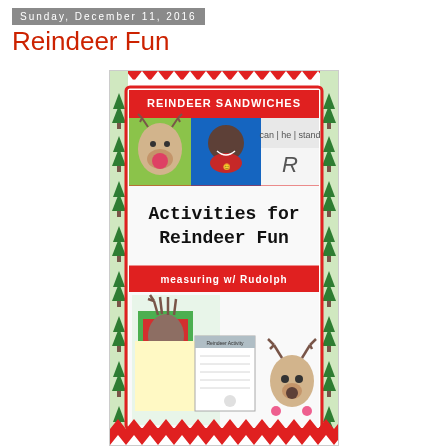Sunday, December 11, 2016
Reindeer Fun
[Figure (illustration): Educational activity book cover titled 'Activities for Reindeer Fun' with sections for Reindeer Sandwiches and Measuring w/ Rudolph. Features photos of a smiling child, reindeer craft illustrations, handprint reindeer art, and worksheet images. Decorated with Christmas tree and zig-zag red/white border.]